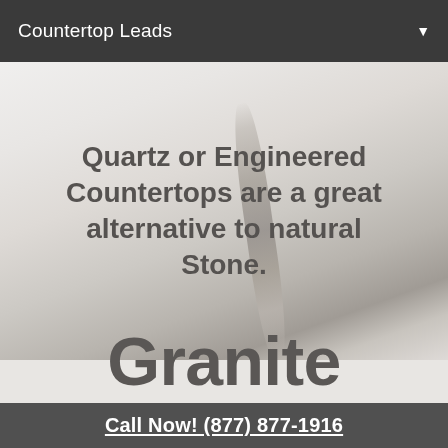Countertop Leads
[Figure (photo): Close-up photo of white/light grey marble or quartz countertop surface with natural veining patterns]
Quartz or Engineered Countertops are a great alternative to natural Stone.
Granite
Call Now! (877) 877-1916